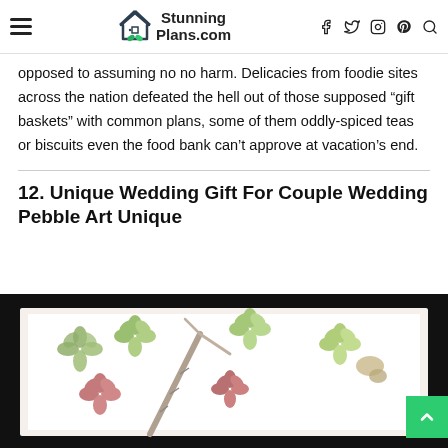StunningPlans.com
opposed to assuming no no harm. Delicacies from foodie sites across the nation defeated the hell out of those supposed “gift baskets” with common plans, some of them oddly-spiced teas or biscuits even the food bank can’t approve at vacation’s end.
12. Unique Wedding Gift For Couple Wedding Pebble Art Unique
[Figure (photo): A framed pebble art piece showing flower designs made from pebbles/stones arranged on a white background inside a dark frame]